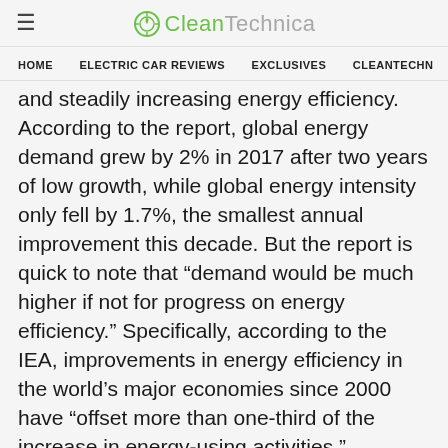≡  CleanTechnica
HOME   ELECTRIC CAR REVIEWS   EXCLUSIVES   CLEANTECHN
and steadily increasing energy efficiency. According to the report, global energy demand grew by 2% in 2017 after two years of low growth, while global energy intensity only fell by 1.7%, the smallest annual improvement this decade. But the report is quick to note that “demand would be much higher if not for progress on energy efficiency.” Specifically, according to the IEA, improvements in energy efficiency in the world’s major economies since 2000 have “offset more than one-third of the increase in energy-using activities.” Globally, improvements in energy efficiency since 2000